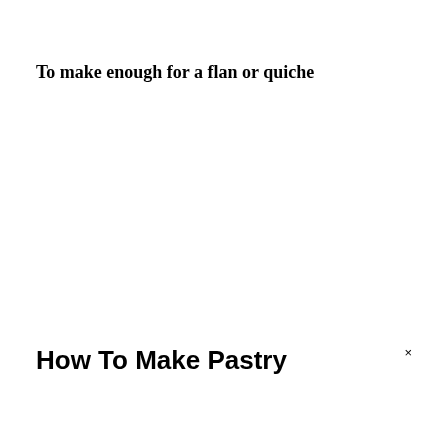To make enough for a flan or quiche
How To Make Pastry
×